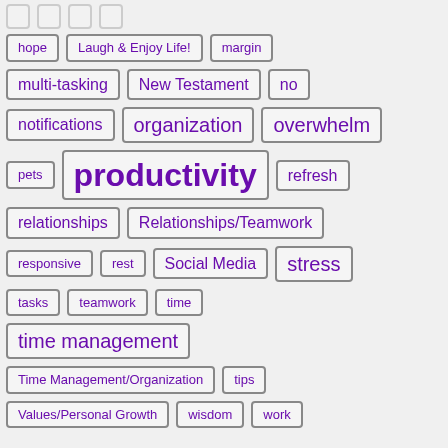hope
Laugh & Enjoy Life!
margin
multi-tasking
New Testament
no
notifications
organization
overwhelm
pets
productivity
refresh
relationships
Relationships/Teamwork
responsive
rest
Social Media
stress
tasks
teamwork
time
time management
Time Management/Organization
tips
Values/Personal Growth
wisdom
work